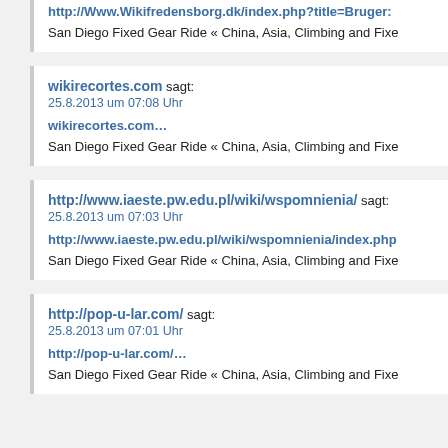http://Www.Wikifredensborg.dk/index.php?title=Bruger:...
San Diego Fixed Gear Ride « China, Asia, Climbing and Fixe…
wikirecortes.com sagt:
25.8.2013 um 07:08 Uhr
wikirecortes.com…
San Diego Fixed Gear Ride « China, Asia, Climbing and Fixe…
http://www.iaeste.pw.edu.pl/wiki/wspomnienia/ sagt:
25.8.2013 um 07:03 Uhr
http://www.iaeste.pw.edu.pl/wiki/wspomnienia/index.php…
San Diego Fixed Gear Ride « China, Asia, Climbing and Fixe…
http://pop-u-lar.com/ sagt:
25.8.2013 um 07:01 Uhr
http://pop-u-lar.com/…
San Diego Fixed Gear Ride « China, Asia, Climbing and Fixe…